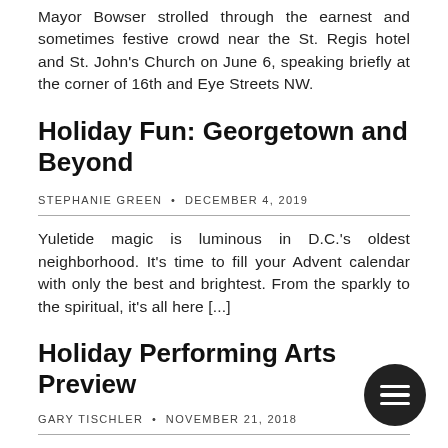Mayor Bowser strolled through the earnest and sometimes festive crowd near the St. Regis hotel and St. John's Church on June 6, speaking briefly at the corner of 16th and Eye Streets NW.
Holiday Fun: Georgetown and Beyond
STEPHANIE GREEN · DECEMBER 4, 2019
Yuletide magic is luminous in D.C.'s oldest neighborhood. It's time to fill your Advent calendar with only the best and brightest. From the sparkly to the spiritual, it's all here [...]
Holiday Performing Arts Preview
GARY TISCHLER · NOVEMBER 21, 2018
Not just a listing of holiday performances